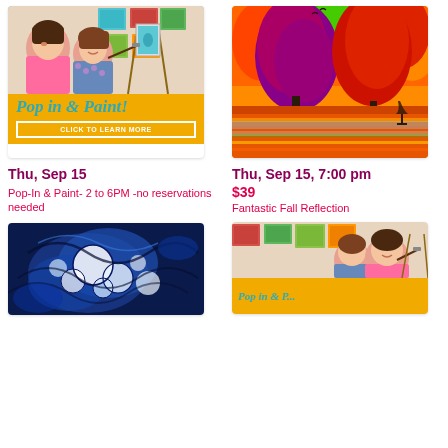[Figure (photo): Pop In & Paint promotional card with two women painting, yellow background with teal script text and click to learn more button]
[Figure (illustration): Colorful autumn tree painting with vibrant orange, red, and green foliage reflected in water]
Thu, Sep 15
Thu, Sep 15, 7:00 pm
$39
Pop-In & Paint- 2 to 6PM -no reservations needed
Fantastic Fall Reflection
[Figure (photo): Blue abstract fluid art painting with white and blue swirling patterns]
[Figure (photo): Pop In & Paint promotional card partially visible, two women painting]